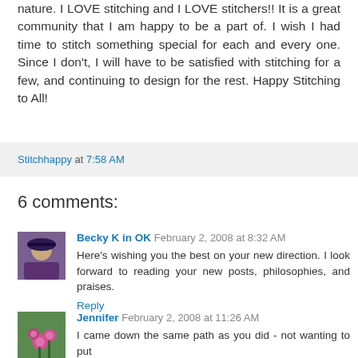nature. I LOVE stitching and I LOVE stitchers!! It is a great community that I am happy to be a part of. I wish I had time to stitch something special for each and every one. Since I don't, I will have to be satisfied with stitching for a few, and continuing to design for the rest. Happy Stitching to All!
Stitchhappy at 7:58 AM
6 comments:
[Figure (photo): Avatar photo of Becky K in OK - person wearing a hat]
Becky K in OK  February 2, 2008 at 8:32 AM
Here's wishing you the best on your new direction. I look forward to reading your new posts, philosophies, and praises.
Reply
[Figure (photo): Avatar photo of Jennifer - flowers]
Jennifer  February 2, 2008 at 11:26 AM
I came down the same path as you did - not wanting to put